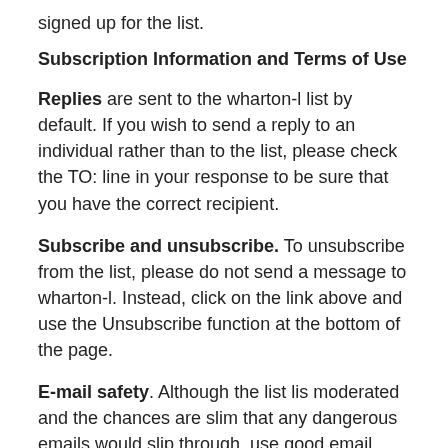signed up for the list.
Subscription Information and Terms of Use
Replies are sent to the wharton-l list by default. If you wish to send a reply to an individual rather than to the list, please check the TO: line in your response to be sure that you have the correct recipient.
Subscribe and unsubscribe. To unsubscribe from the list, please do not send a message to wharton-l. Instead, click on the link above and use the Unsubscribe function at the bottom of the page.
E-mail safety. Although the list lis moderated and the chances are slim that any dangerous emails would slip through, use good email practices when reading messages: don't click on suspicious links or open